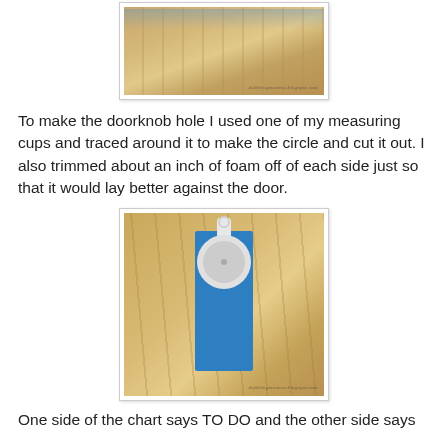[Figure (photo): Photo of a wooden surface with a blue foam piece, watermark reads dabblingmomma.blogspot.com]
To make the doorknob hole I used one of my measuring cups and traced around it to make the circle and cut it out.  I also trimmed about an inch of foam off of each side just so that it would lay better against the door.
[Figure (photo): Photo of a measuring cup placed on a blue foam rectangle on a wooden table surface, watermark reads dabblingmomma.blogspot.com]
One side of the chart says TO DO and the other side says